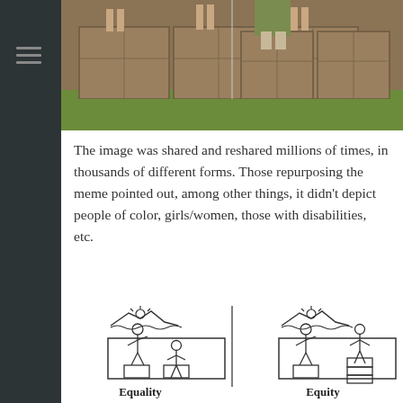[Figure (photo): Top portion of the equality/equity image showing people standing on boxes behind a fence, with green background]
The image was shared and reshared millions of times, in thousands of different forms. Those repurposing the meme pointed out, among other things, it didn't depict people of color, girls/women, those with disabilities, etc.
[Figure (illustration): Side-by-side illustration showing Equality (two stick figures on same-size boxes behind a fence, shorter figure can't see over) vs Equity (taller figure on one box, shorter figure on stacked boxes, both can see over fence). Labels: Equality and Equity.]